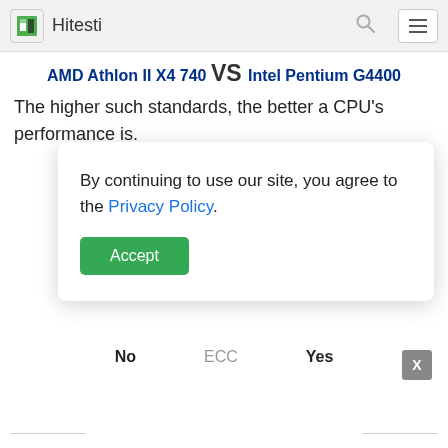Hitesti
AMD Athlon II X4 740 VS Intel Pentium G4400
The higher such standards, the better a CPU's performance is.
By continuing to use our site, you agree to the Privacy Policy.
Accept
| No | ECC | Yes |
| --- | --- | --- |